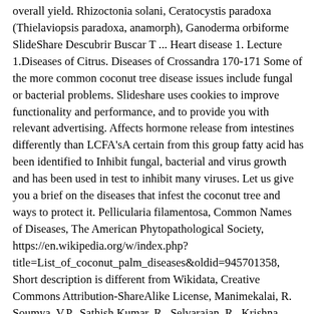overall yield. Rhizoctonia solani, Ceratocystis paradoxa (Thielaviopsis paradoxa, anamorph), Ganoderma orbiforme SlideShare Descubrir Buscar T ... Heart disease 1. Lecture 1.Diseases of Citrus. Diseases of Crossandra 170-171 Some of the more common coconut tree disease issues include fungal or bacterial problems. Slideshare uses cookies to improve functionality and performance, and to provide you with relevant advertising. Affects hormone release from intestines differently than LCFA'sA certain from this group fatty acid has been identified to Inhibit fungal, bacterial and virus growth and has been used in test to inhibit many viruses. Let us give you a brief on the diseases that infest the coconut tree and ways to protect it. Pellicularia filamentosa, Common Names of Diseases, The American Phytopathological Society, https://en.wikipedia.org/w/index.php?title=List_of_coconut_palm_diseases&oldid=945701358, Short description is different from Wikidata, Creative Commons Attribution-ShareAlike License, Manimekalai, R. Soumya, V.P., Sathish Kumar, R., Selvarajan, R., Krishna Reddy, M., Sasikala, George V Thomas., Rajeev M and Baranwal, V.K. Diseases of Mulberry 146-148 19. Phytophthora nicotianae LSU AgCenter It does not have a pleasant taste. If you continue browsing the site, you agree to the use of cookies on this website. Slideshare uses cookies to improve functionality and performance, and to provide you with relevant advertising. Potatoes grow well in cool and temperate region and this crop requires cool nights and well-